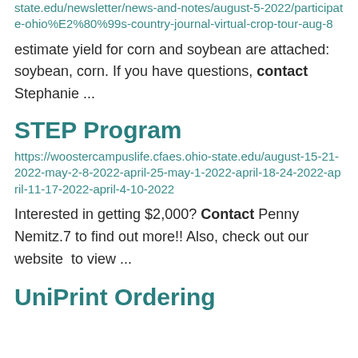state.edu/newsletter/news-and-notes/august-5-2022/participate-ohio%E2%80%99s-country-journal-virtual-crop-tour-aug-8
estimate yield for corn and soybean are attached: soybean, corn. If you have questions, contact Stephanie ...
STEP Program
https://woostercampuslife.cfaes.ohio-state.edu/august-15-21-2022-may-2-8-2022-april-25-may-1-2022-april-18-24-2022-april-11-17-2022-april-4-10-2022
Interested in getting $2,000? Contact Penny Nemitz.7 to find out more!! Also, check out our website  to view ...
UniPrint Ordering